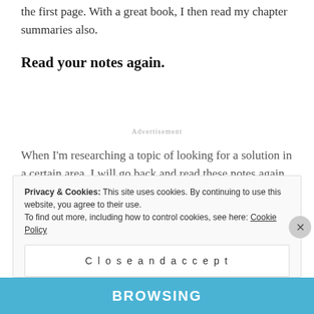the first page. With a great book, I then read my chapter summaries also.
Read your notes again.
Advertisement
When I'm researching a topic of looking for a solution in a certain area, I will go back and read these notes again.  It's very helpful for retention and application.
Privacy & Cookies: This site uses cookies. By continuing to use this website, you agree to their use. To find out more, including how to control cookies, see here: Cookie Policy
Close and accept